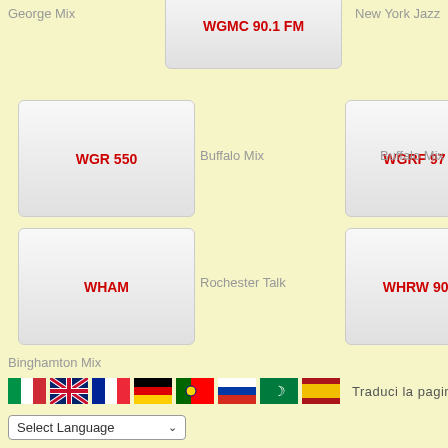George Mix
[Figure (screenshot): Radio station button: WGMC 90.1 FM]
New York Jazz
[Figure (screenshot): Radio station button: WGR 550]
Buffalo Mix
[Figure (screenshot): Radio station button: WGRF 97 Rock]
Buffalo Mix
[Figure (screenshot): Radio station button: WHAM]
Rochester Talk
[Figure (screenshot): Radio station button: WHRW 90.5 FM]
Binghamton Mix
[Figure (infographic): Row of country flags: Italy, UK, France, Germany, Portugal, Russia, Arab, Spain with text Traduci la pagina]
[Figure (screenshot): Select Language dropdown]
Initializing RSS Display Box...
[Figure (screenshot): Giornali Sportivi button]